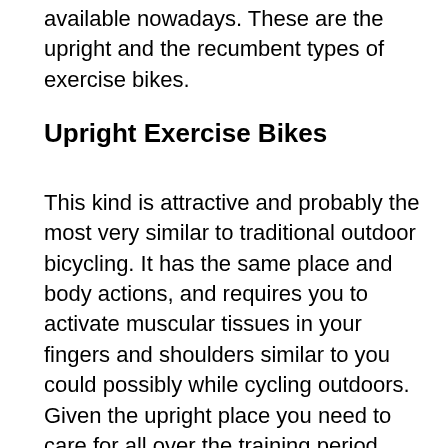available nowadays. These are the upright and the recumbent types of exercise bikes.
Upright Exercise Bikes
This kind is attractive and probably the most very similar to traditional outdoor bicycling. It has the same place and body actions, and requires you to activate muscular tissues in your fingers and shoulders similar to you could possibly while cycling outdoors. Given the upright place you need to care for all over the training period, your abdominal muscles get labored as well, that's a muscle group recurrently disregarded in bikes such as the recumbent. The ultimate benefit is the dimensions of the system itself, identified in the exercise international as the system's footprint. Since it's footprint is relatively small, it allows more space in